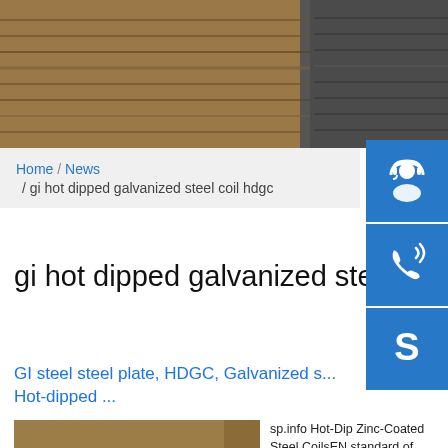[Figure (photo): Hero image showing stacked galvanized steel coils/plates in a warehouse, brownish-gray metallic appearance]
[Figure (infographic): Blue sidebar buttons: headset/support icon, phone icon, Skype icon]
Home / News / gi hot dipped galvanized steel coil hdgc
gi hot dipped galvanized steel coil hdgc.
GI steel steel plate, HDGC, Galvanized s... Hot-dipped ...
[Figure (photo): Photo of stacked metal steel plates, brownish-orange finish]
sp.info Hot-Dip Zinc-Coated Steel CoilsEN standard of hot-dip galvanized micro alloyed steel coils with high strength and low carbon equivalent (to promote weld-